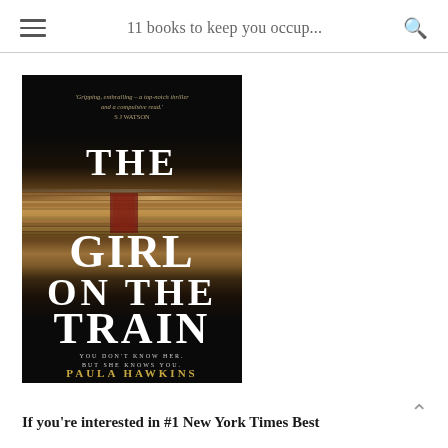11 books to keep you occup...
[Figure (photo): Book cover of 'The Girl on the Train' by Paula Hawkins. Dark background with motion-blurred train window imagery. Text reads: 'Gripping, enthralling – a top-notch thriller and a compulsive read.' S J WATSON. Title: THE GIRL ON THE TRAIN. Tagline: YOU DON'T KNOW HER. BUT SHE KNOWS YOU. Author: PAULA HAWKINS]
If you're interested in #1 New York Times Best